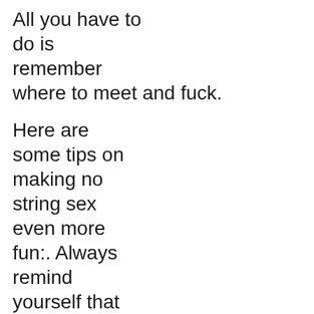All you have to do is remember where to meet and fuck.
Here are some tips on making no string sex even more fun:. Always remind yourself that this is no strings sex. Remember to remind your partner as well. Both of